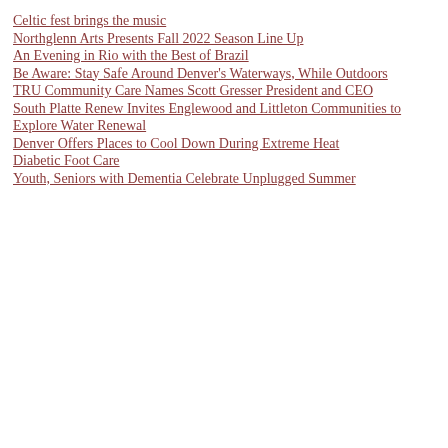Celtic fest brings the music
Northglenn Arts Presents Fall 2022 Season Line Up
An Evening in Rio with the Best of Brazil
Be Aware: Stay Safe Around Denver's Waterways, While Outdoors
TRU Community Care Names Scott Gresser President and CEO
South Platte Renew Invites Englewood and Littleton Communities to Explore Water Renewal
Denver Offers Places to Cool Down During Extreme Heat
Diabetic Foot Care
Youth, Seniors with Dementia Celebrate Unplugged Summer